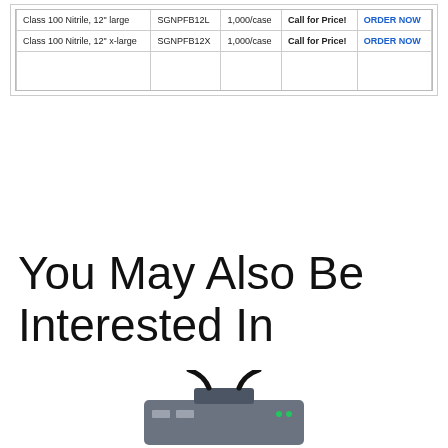| Description | Item # | Qty | Price | Order |
| --- | --- | --- | --- | --- |
| Class 100 Nitrile, 12" large | SGNPFB12L | 1,000/case | Call for Price! | ORDER NOW |
| Class 100 Nitrile, 12" x-large | SGNPFB12X | 1,000/case | Call for Price! | ORDER NOW |
You May Also Be Interested In
[Figure (photo): Photo of an electronic device/product, partially visible at bottom of page]